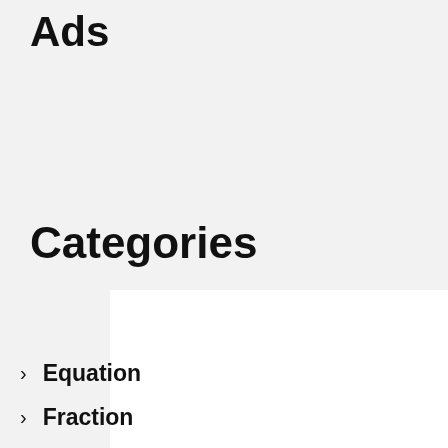Ads
Categories
Addition
Algebra
Answer
Color
Equation
Fraction
Math
PREVIOUS POST
NEXT POST